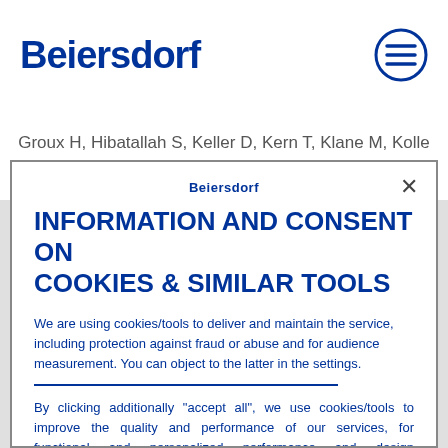[Figure (logo): Beiersdorf logo in bold dark blue text]
Groux H, Hibatallah S, Keller D, Kern T, Klane M, Kolle S, Kuehnl J, Lambrechts N, Lindstedt M, Millet M,
INFORMATION AND CONSENT ON COOKIES & SIMILAR TOOLS
We are using cookies/tools to deliver and maintain the service, including protection against fraud or abuse and for audience measurement. You can object to the latter in the settings.
By clicking additionally "accept all", we use cookies/tools to improve the quality and performance of our services, for functional and personalized performance and design improvements, to measure effectiveness of ads or campaigns,